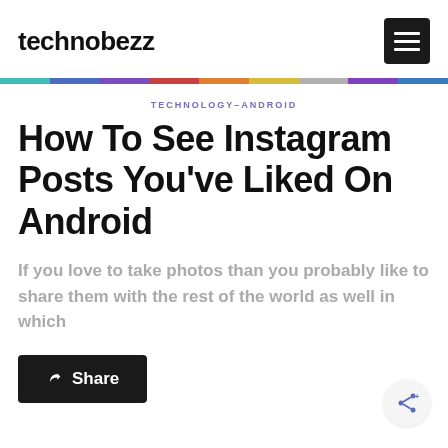technobezz
TECHNOLOGY–ANDROID
How To See Instagram Posts You've Liked On Android
If you love to take photos than you probably like to share them with the rest of the world as well in which
[Figure (other): Black Share button with arrow/share icon]